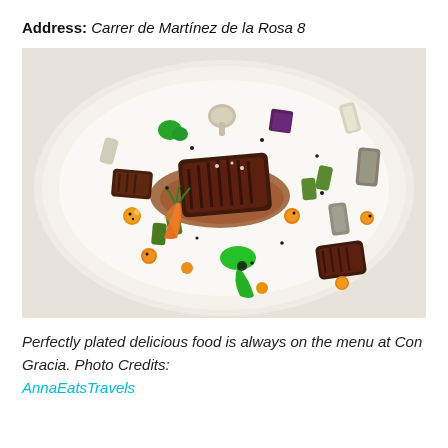Address: Carrer de Martínez de la Rosa 8
[Figure (photo): A beautifully plated fine dining dish on a white plate featuring a grilled meat centerpiece surrounded by colorful vegetables, green herb puree dots, orange cherry tomatoes, mushrooms, and a rich brown sauce.]
Perfectly plated delicious food is always on the menu at Con Gracia. Photo Credits: AnnaEatsTravels